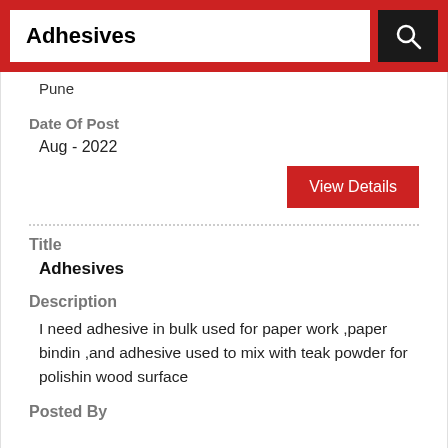Adhesives
Pune
Date Of Post
Aug - 2022
View Details
Title
Adhesives
Description
I need adhesive in bulk used for paper work ,paper bindin ,and adhesive used to mix with teak powder for polishin wood surface
Posted By